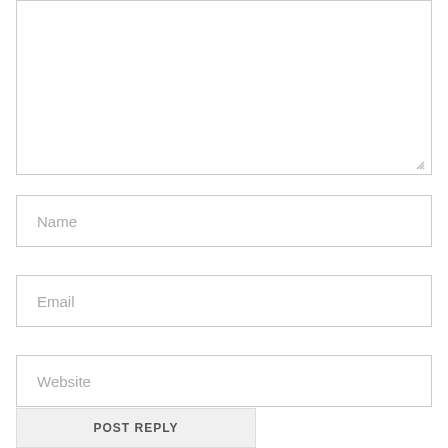[Figure (screenshot): Empty textarea comment input box with resize handle in bottom-right corner]
Name
Email
Website
POST REPLY